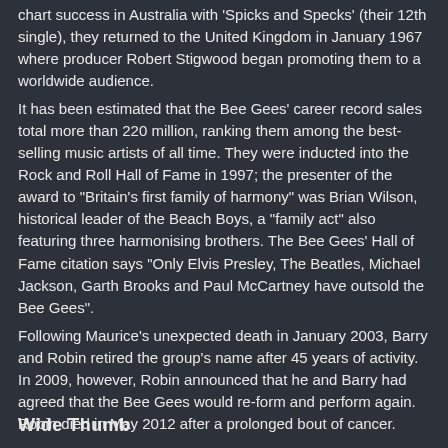chart success in Australia with 'Spicks and Specks' (their 12th single), they returned to the United Kingdom in January 1967 where producer Robert Stigwood began promoting them to a worldwide audience.
It has been estimated that the Bee Gees' career record sales total more than 220 million, ranking them among the best-selling music artists of all time. They were inducted into the Rock and Roll Hall of Fame in 1997; the presenter of the award to "Britain's first family of harmony" was Brian Wilson, historical leader of the Beach Boys, a "family act" also featuring three harmonising brothers. The Bee Gees' Hall of Fame citation says "Only Elvis Presley, The Beatles, Michael Jackson, Garth Brooks and Paul McCartney have outsold the Bee Gees".
Following Maurice's unexpected death in January 2003, Barry and Robin retired the group's name after 45 years of activity. In 2009, however, Robin announced that he and Barry had agreed that the Bee Gees would re-form and perform again. Robin died in May 2012 after a prolonged bout of cancer.
[Figure (logo): Creative Commons license icon (CC BY)]
Wide Thumb